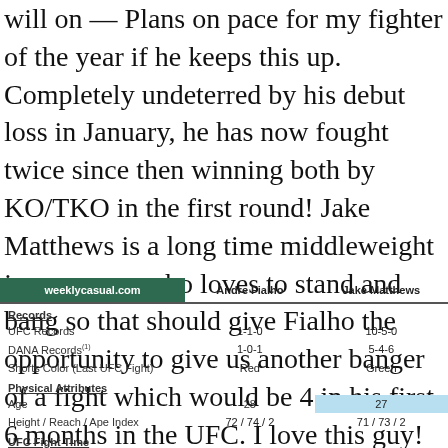will on — Plans on pace for my fighter of the year if he keeps this up. Completely undeterred by his debut loss in January, he has now fought twice since then winning both by KO/TKO in the first round! Jake Matthews is a long time middleweight journeyman who loves to stand and bang so that should give Fialho the opportunity to give us another banger of a fight which would be 4 in his first 6 months in the UFC. I love this guy!
| weeklycasual.com | Andre Fialho | Jake Matthews |
| --- | --- | --- |
| Records |  |  |
| UFC Records | 1-1-0 | 10-5-0 |
| DANA Records(1) | 1-0-1 | 5-4-6 |
| Shorts Color (Last UFC Fight) | Red | Green |
| Physical Attributes |  |  |
| Age | 28 | 27 |
| Height / Reach / Ape Index | 72 / 74 / 2 | 71 / 73 / 2 |
| UFC Fight Time |  |  |
| Distance % | 92.2% | 53.8% |
| Control % | 4.1% | 30.0% |